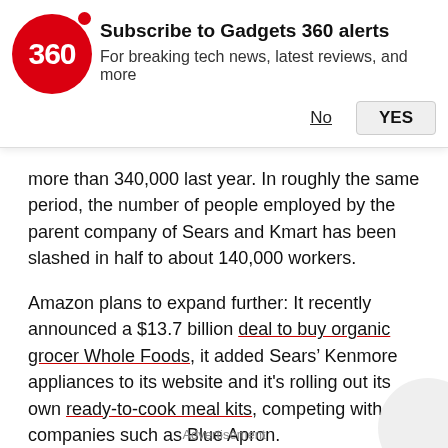[Figure (other): Gadgets 360 subscription notification banner with red circular logo showing '360', red dot, bold title 'Subscribe to Gadgets 360 alerts', subtitle 'For breaking tech news, latest reviews, and more', and two buttons: 'No' (underlined) and 'YES' (button)]
more than 340,000 last year. In roughly the same period, the number of people employed by the parent company of Sears and Kmart has been slashed in half to about 140,000 workers.
Amazon plans to expand further: It recently announced a $13.7 billion deal to buy organic grocer Whole Foods, it added Sears’ Kenmore appliances to its website and it's rolling out its own ready-to-cook meal kits, competing with companies such as Blue Apron.
Advertisement